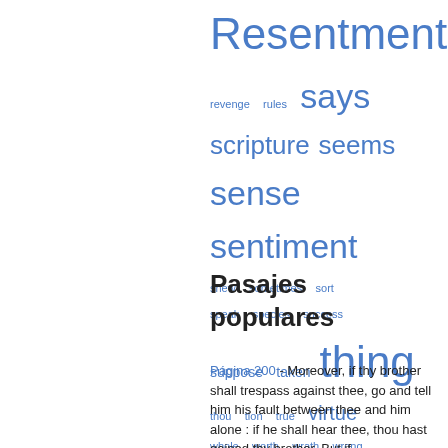[Figure (other): Word cloud of terms related to Resentment, shown in various font sizes in blue: Resentment (largest), scripture, seems, sense, sentiment, thing (large), says, revenge, rules, shew, sometimes, sort, speak, species, success, suppose, taken, thou, tion, true, virtue, whole, worth, wrath, wrong]
Pasajes populares
Página 200 - Moreover, if thy brother shall trespass against thee, go and tell him his fault between thee and him alone : if he shall hear thee, thou hast gained thy brother. But if